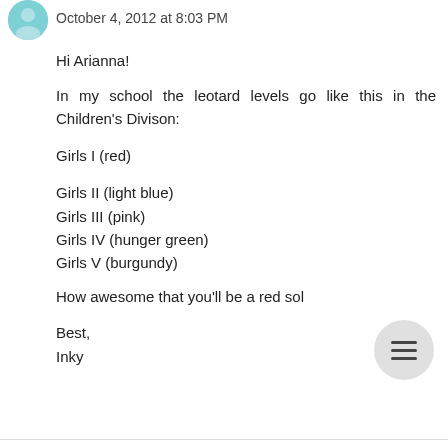October 4, 2012 at 8:03 PM
Hi Arianna!
In my school the leotard levels go like this in the Children's Divison:
Girls I (red)
Girls II (light blue)
Girls III (pink)
Girls IV (hunger green)
Girls V (burgundy)
How awesome that you'll be a red sol
Best,
Inky